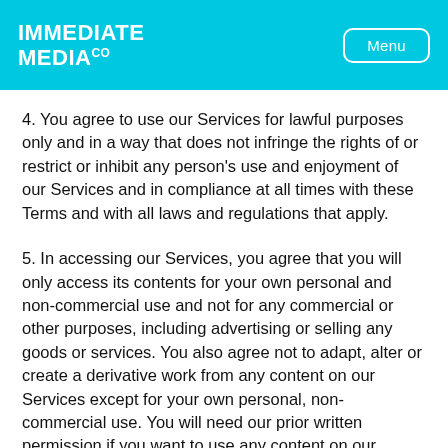IMMEDIATE MEDIA Co | Menu
4. You agree to use our Services for lawful purposes only and in a way that does not infringe the rights of or restrict or inhibit any person's use and enjoyment of our Services and in compliance at all times with these Terms and with all laws and regulations that apply.
5. In accessing our Services, you agree that you will only access its contents for your own personal and non-commercial use and not for any commercial or other purposes, including advertising or selling any goods or services. You also agree not to adapt, alter or create a derivative work from any content on our Services except for your own personal, non-commercial use. You will need our prior written permission if you want to use any content on our Services for any other reason.